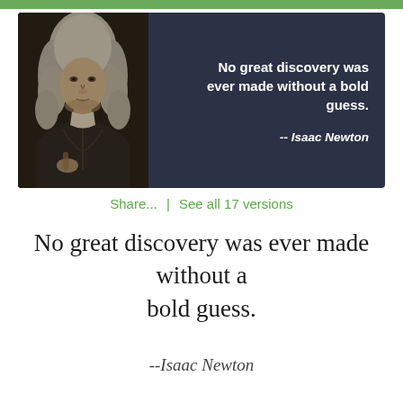[Figure (illustration): Quote card with a classical portrait painting of Isaac Newton on the left (dark background, man in period wig and clothing) and white bold text on the right reading 'No great discovery was ever made without a bold guess. -- Isaac Newton' on a dark navy background.]
Share...  |  See all 17 versions
No great discovery was ever made without a bold guess.
--Isaac Newton